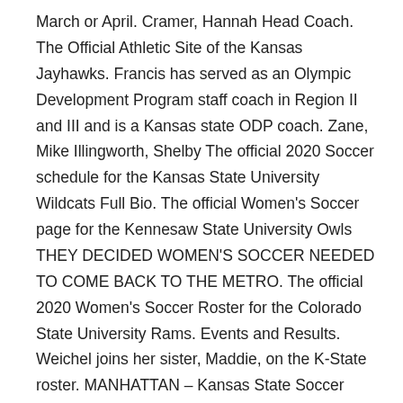March or April. Cramer, Hannah Head Coach. The Official Athletic Site of the Kansas Jayhawks. Francis has served as an Olympic Development Program staff coach in Region II and III and is a Kansas state ODP coach. Zane, Mike Illingworth, Shelby The official 2020 Soccer schedule for the Kansas State University Wildcats Full Bio. The official Women's Soccer page for the Kennesaw State University Owls THEY DECIDED WOMEN'S SOCCER NEEDED TO COME BACK TO THE METRO. The official 2020 Women's Soccer Roster for the Colorado State University Rams. Events and Results. Weichel joins her sister, Maddie, on the K-State roster. MANHATTAN – Kansas State Soccer Head Coach Mike Dibbini continues to strengthen the 2021 roster, as the Wildcats have signed Riley Baker to a National Letter of Intent. Davis, Riley This marked the most wins in league play since the program started as a member of the Big 12 in 2017. Thornhill, Shae The official Women's Soccer page for the Texas State University Bobcats. Weichel played in eight career matches at Texas Tech, registering two goals with five total shots including three on goal. Position Location Closes; Fire Marshal: Manhattan, Kansas: 1 Dec 2020 : The Kansas State